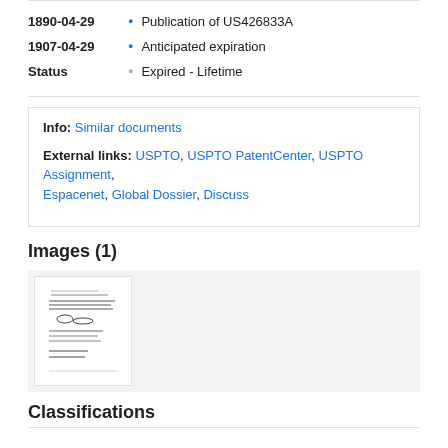1890-04-29 • Publication of US426833A
1907-04-29 • Anticipated expiration
Status • Expired - Lifetime
Info: Similar documents
External links: USPTO, USPTO PatentCenter, USPTO Assignment, Espacenet, Global Dossier, Discuss
Images (1)
[Figure (photo): Thumbnail of patent document page showing handwritten and printed text, sketches and signatures]
Classifications